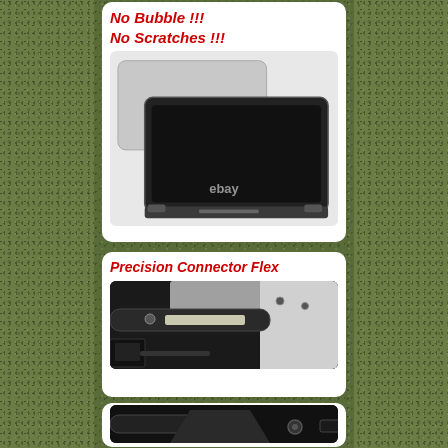No Bubble !!! No Scratches !!!
[Figure (photo): MacBook laptop screen assembly showing back (silver/gray lid) and front (black display) of a complete LCD screen replacement, with 'ebay' watermark text]
Precision Connector Flex
[Figure (photo): Close-up photo of precision connector flex cable on a laptop display assembly, showing hinge area with ribbon cable and screws]
[Figure (photo): Close-up photo of laptop hinge and connector area from below, showing hinge mechanism and components]